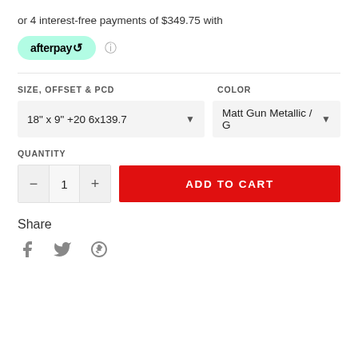or 4 interest-free payments of $349.75 with afterpay ℹ
SIZE, OFFSET & PCD
COLOR
18" x 9" +20 6x139.7
Matt Gun Metallic / G
QUANTITY
1
ADD TO CART
Share